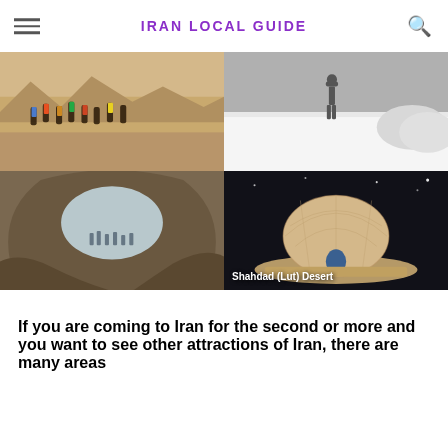IRAN LOCAL GUIDE
[Figure (photo): Group of hikers with backpacks walking through a desert landscape]
[Figure (photo): Person standing on white salt flats or snowy terrain]
[Figure (photo): Rock formation with circular hole/window looking through to people gathered beneath]
[Figure (photo): Dome-shaped traditional structure (kalut) in the Shahdad (Lut) Desert at night, labeled 'Shahdad (Lut) Desert']
If you are coming to Iran for the second or more and you want to see other attractions of Iran, there are many areas